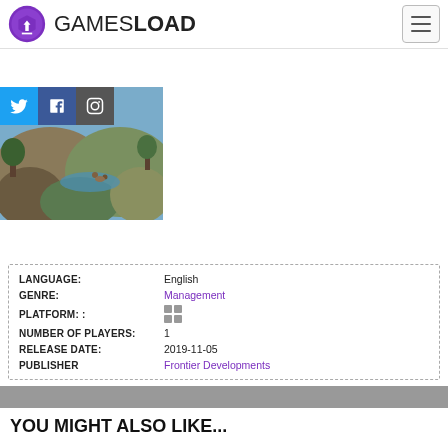GAMESLOAD
[Figure (screenshot): Game screenshot with social media buttons (Twitter, Facebook, Instagram) overlaid on top. Shows a wildlife/zoo game scene with rocks, animals, and nature.]
| LANGUAGE: | English |
| GENRE: | Management |
| PLATFORM: | [Windows icon] |
| NUMBER OF PLAYERS: | 1 |
| RELEASE DATE: | 2019-11-05 |
| PUBLISHER | Frontier Developments |
YOU MIGHT ALSO LIKE...
Detroit: Become Human
-5% $37.99
Street Fighter V